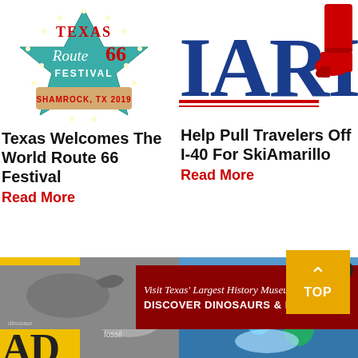[Figure (logo): Texas Route 66 Festival logo - Shamrock TX 2019, teal star shape with red Route 66 text]
[Figure (logo): IARI logo with red cowboy boot, partial view showing IARI text in blue and red cowboy boot]
Texas Welcomes The World Route 66 Festival
Read More
Help Pull Travelers Off I-40 For SkiAmarillo
Read More
[Figure (photo): Reader's Choice yellow banner sign on left, dinosaur fossil photo overlay in center]
[Figure (photo): People doing water activity or rodeo sport on right side]
[Figure (infographic): Dark red banner ad: Visit Texas Largest History Museum - DISCOVER DINOSAURS & MORE]
Cookies are used for measurement, ads and optimization. By agreeing to use our site you agree to our privaoy polioy.